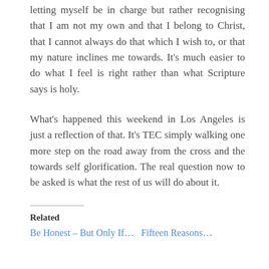letting myself be in charge but rather recognising that I am not my own and that I belong to Christ, that I cannot always do that which I wish to, or that my nature inclines me towards. It's much easier to do what I feel is right rather than what Scripture says is holy.
What's happened this weekend in Los Angeles is just a reflection of that. It's TEC simply walking one more step on the road away from the cross and the towards self glorification. The real question now to be asked is what the rest of us will do about it.
Related
Be Honest – But Only If… Fifteen Reasons…